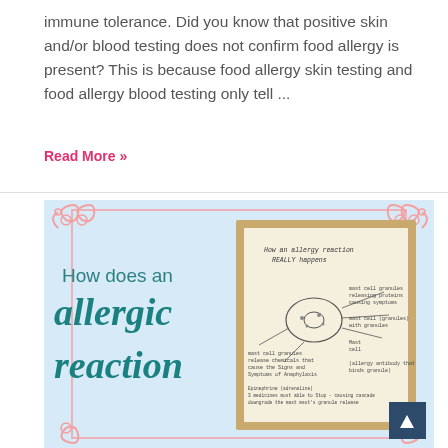immune tolerance. Did you know that positive skin and/or blood testing does not confirm food allergy is present? This is because food allergy skin testing and food allergy blood testing only tell ...
Read More »
[Figure (illustration): Infographic with light blue background and decorative pink scroll corners. Left side shows text 'How does an allergic reaction' in teal/green. Right side shows a photograph of a handwritten mind-map note about how an allergic reaction really happens, with a cell diagram and handwritten annotations.]